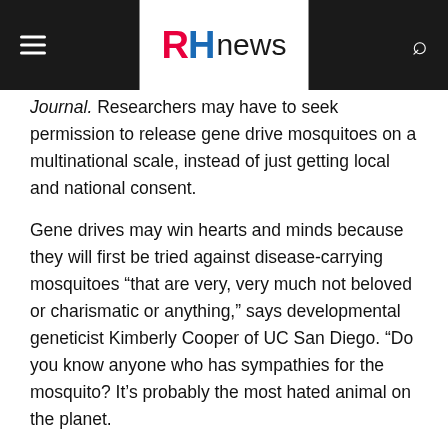RH news
Journal. Researchers may have to seek permission to release gene drive mosquitoes on a multinational scale, instead of just getting local and national consent.
Gene drives may win hearts and minds because they will first be tried against disease-carrying mosquitoes “that are very, very much not beloved or charismatic or anything,” says developmental geneticist Kimberly Cooper of UC San Diego. “Do you know anyone who has sympathies for the mosquito? It’s probably the most hated animal on the planet.
“But there will always be people who are very concerned about genetically modified organisms and their release into the environment,” even if those organisms are mosquitoes, says Cooper, who is not involved with the malaria gene drive research but is developing a gene drive to use as a research